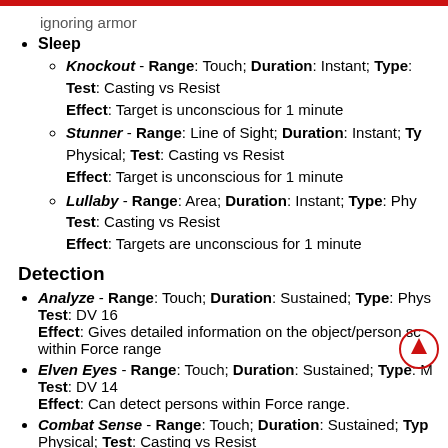ignoring armor
Sleep
Knockout - Range: Touch; Duration: Instant; Type: [cut off] Test: Casting vs Resist Effect: Target is unconscious for 1 minute
Stunner - Range: Line of Sight; Duration: Instant; Ty[cut off] Physical; Test: Casting vs Resist Effect: Target is unconscious for 1 minute
Lullaby - Range: Area; Duration: Instant; Type: Phy[cut off] Test: Casting vs Resist Effect: Targets are unconscious for 1 minute
Detection
Analyze - Range: Touch; Duration: Sustained; Type: Phys[cut off] Test: DV 16 Effect: Gives detailed information on the object/person sc[cut off] within Force range
Elven Eyes - Range: Touch; Duration: Sustained; Type: M[cut off] Test: DV 14 Effect: Can detect persons within Force range.
Combat Sense - Range: Touch; Duration: Sustained; Typ[cut off] Physical; Test: Casting vs Resist Effect: Subtracts Force from target's attacks against you
Mind Probe - Range: Touch; Duration: Sustained; Type: [cut off]